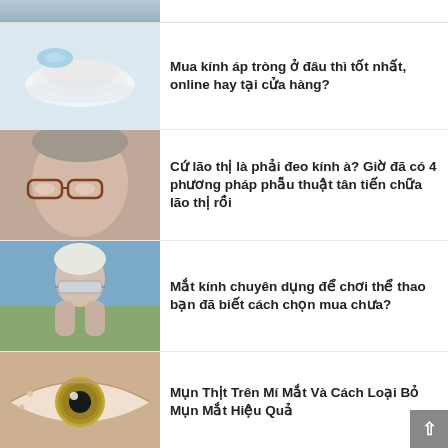[Figure (photo): Partial top strip image of a person wearing glasses or contact lenses, cropped]
[Figure (photo): Contact lenses and storage case on white background]
Mua kính áp tròng ở đâu thì tốt nhất, online hay tại cửa hàng?
[Figure (photo): Elderly woman wearing reading glasses looking down]
Cứ lão thị là phải đeo kính à? Giờ đã có 4 phương pháp phẫu thuật tân tiến chữa lão thị rồi
[Figure (photo): Athlete wearing sports goggles, adjusting them]
Mắt kính chuyên dụng để chơi thể thao bạn đã biết cách chọn mua chưa?
[Figure (photo): Close-up of a human eye with green/amber iris]
Mụn Thịt Trên Mí Mắt Và Cách Loại Bỏ Mụn Mắt Hiệu Quả